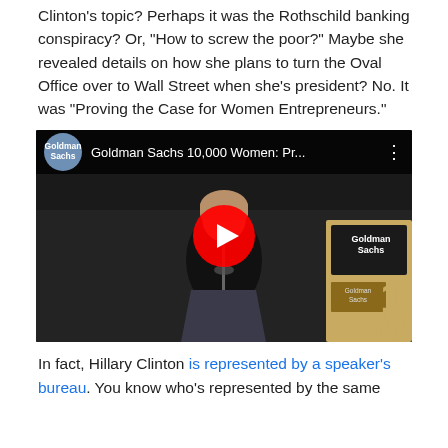Clinton's topic? Perhaps it was the Rothschild banking conspiracy? Or, "How to screw the poor?" Maybe she revealed details on how she plans to turn the Oval Office over to Wall Street when she's president? No. It was "Proving the Case for Women Entrepreneurs."
[Figure (screenshot): YouTube video thumbnail showing a woman speaking at a podium with Goldman Sachs branding. Video title reads 'Goldman Sachs 10,000 Women: Pr...' with Goldman Sachs logo circle in top left and three-dot menu on right.]
In fact, Hillary Clinton is represented by a speaker's bureau. You know who's represented by the same